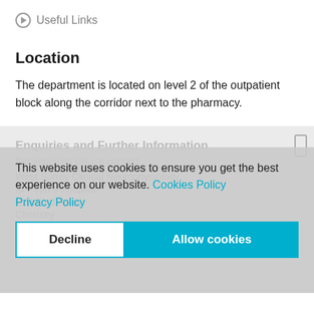Useful Links
Location
The department is located on level 2 of the outpatient block along the corridor next to the pharmacy.
Enquiries and Further Information
For enquiries please contact:
West Surrey Clinical Neurophysiology
St Peter's Hospital
Guildford Road
Chertsey
KT16 0PZ
This website uses cookies to ensure you get the best experience on our website. Cookies Policy
Privacy Policy